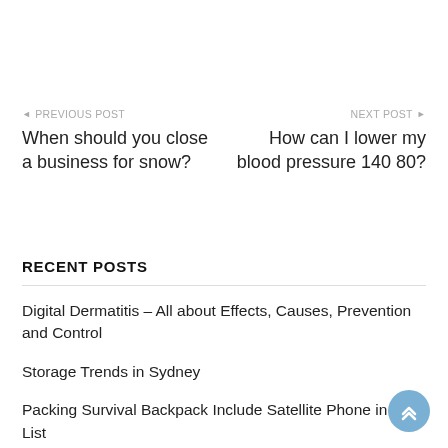◄ PREVIOUS POST
When should you close a business for snow?
NEXT POST ►
How can I lower my blood pressure 140 80?
RECENT POSTS
Digital Dermatitis – All about Effects, Causes, Prevention and Control
Storage Trends in Sydney
Packing Survival Backpack Include Satellite Phone in Your List
Office essentials you simply can't do without